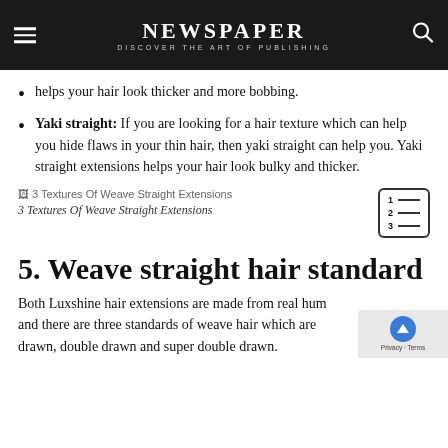NEWSPAPER
DISCOVER THE ART OF PUBLISHING
helps your hair look thicker and more bobbing.
Yaki straight: If you are looking for a hair texture which can help you hide flaws in your thin hair, then yaki straight can help you. Yaki straight extensions helps your hair look bulky and thicker.
[Figure (illustration): Broken image placeholder labeled '3 Textures Of Weave Straight Extensions' with a table-of-contents icon on the right]
3 Textures Of Weave Straight Extensions
5. Weave straight hair standard
Both Luxshine hair extensions are made from real hum and there are three standards of weave hair which are drawn, double drawn and super double drawn.